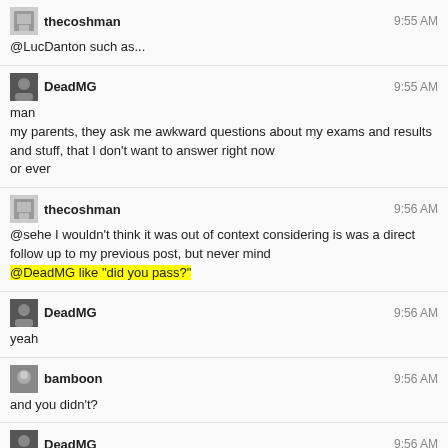thecoshman 9:55 AM @LucDanton such as...
DeadMG 9:55 AM man my parents, they ask me awkward questions about my exams and results and stuff, that I don't want to answer right now or ever
thecoshman 9:56 AM @sehe I wouldn't think it was out of context considering is was a direct follow up to my previous post, but never mind @DeadMG like "did you pass?"
DeadMG 9:56 AM yeah
bamboon 9:56 AM and you didn't?
DeadMG 9:56 AM no, I didn't
Luc Danton 9:56 AM @thecoshman CMake and SCons are among them. There's a lot more than those two though.